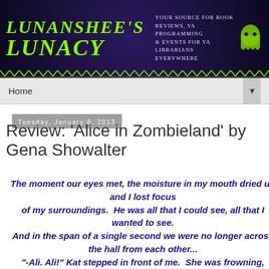[Figure (logo): Lunanshee's Lunacy blog banner with dark purple/navy background, green stylized text logo reading 'Lunanshee's Lunacy', tagline 'Your source for Book Reviews, YA Programming & Events for YA Librarians Everywhere', and a ghost illustration on the right.]
Home ▼
Tuesday, January 8, 2013
Review: 'Alice in Zombieland' by Gena Showalter
The moment our eyes met, the moisture in my mouth dried up and I lost focus of my surroundings.  He was all that I could see, all that I wanted to see. And in the span of a single second we were no longer across the hall from each other... "-Ali. Ali!" Kat stepped in front of me.  She was frowning, waving.